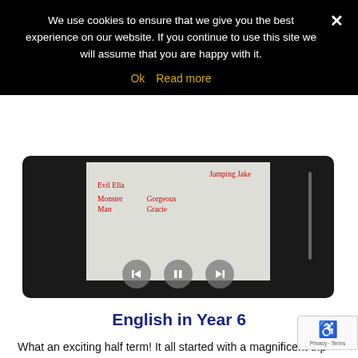We use cookies to ensure that we give you the best experience on our website. If you continue to use this site we will assume that you are happy with it.
Ok   Read more
[Figure (screenshot): A video player showing handwritten name cards including 'Jumping Jake', 'Evil Ella', 'Gorgeous Gracie', 'Monster Man' with playback controls (back, pause, forward) at the bottom.]
English in Year 6
What an exciting half term! It all started with a magnificent trip around the North East where we had the opportunity to visit some of the local landmarks up and personal including ‘Tommy’ at Seaham, Pensh monument, The Millennium bridge, The Sage and